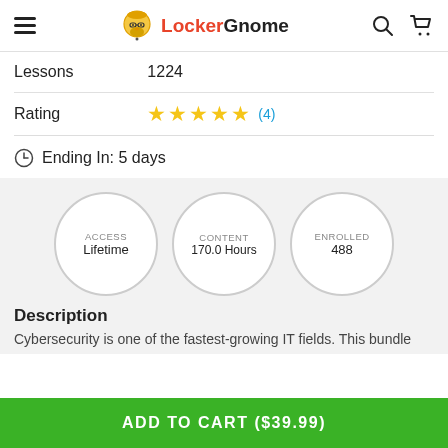LockerGnome
|  |  |
| --- | --- |
| Lessons | 1224 |
| Rating | ★★★★★ (4) |
⊙ Ending In: 5 days
[Figure (infographic): Three circles showing ACCESS Lifetime, CONTENT 170.0 Hours, ENROLLED 488]
Description
Cybersecurity is one of the fastest-growing IT fields. This bundle
ADD TO CART ($39.99)